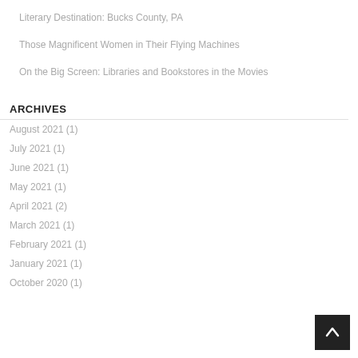Literary Destination: Bucks County, PA
Those Magnificent Women in Their Flying Machines
On the Big Screen: Libraries and Bookstores in the Movies
ARCHIVES
August 2021 (1)
July 2021 (1)
June 2021 (1)
May 2021 (1)
April 2021 (2)
March 2021 (1)
February 2021 (1)
January 2021 (1)
October 2020 (1)